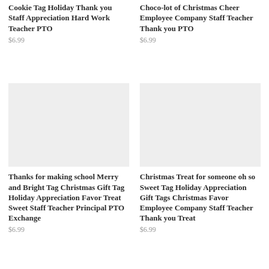Cookie Tag Holiday Thank you Staff Appreciation Hard Work Teacher PTO
$6.99
Choco-lot of Christmas Cheer Employee Company Staff Teacher Thank you PTO
$6.99
[Figure (photo): Product image placeholder - light gray rectangle]
[Figure (photo): Product image placeholder - light gray rectangle]
Thanks for making school Merry and Bright Tag Christmas Gift Tag Holiday Appreciation Favor Treat Sweet Staff Teacher Principal PTO Exchange
$6.99
Christmas Treat for someone oh so Sweet Tag Holiday Appreciation Gift Tags Christmas Favor Employee Company Staff Teacher Thank you Treat
$6.99